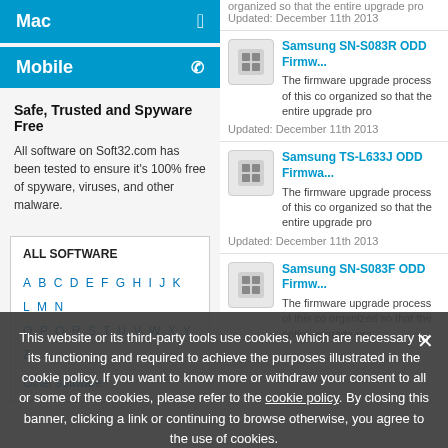Mac
Mobile
Safe, Trusted and Spyware Free
All software on Soft32.com has been tested to ensure it's 100% free of spyware, viruses, and other malware.
ALL SOFTWARE
A B C D E F G H I J K L M N O P Q R S T U V W X Y Z Other software
Samsung SN-S083R ODD Firmware
The firmware upgrade process of this co organized so that the entire upgrade pro
Updated: December 11th 2013
Samsung TS-L633J ODD Firmware
The firmware upgrade process of this co organized so that the entire upgrade pro
Updated: December 11th 2013
Samsung SN-S083F ODD Firmware
The firmware upgrade process of this co organized so that the entire upgrade pro
This website or its third-party tools use cookies, which are necessary to its functioning and required to achieve the purposes illustrated in the cookie policy. If you want to know more or withdraw your consent to all or some of the cookies, please refer to the cookie policy. By closing this banner, clicking a link or continuing to browse otherwise, you agree to the use of cookies.